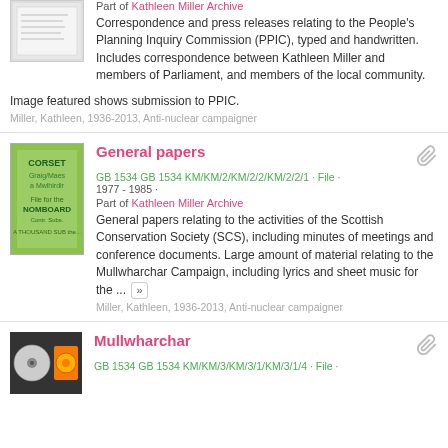Part of Kathleen Miller Archive
Correspondence and press releases relating to the People's Planning Inquiry Commission (PPIC), typed and handwritten. Includes correspondence between Kathleen Miller and members of Parliament, and members of the local community.

Image featured shows submission to PPIC.
Miller, Kathleen, 1936-2013, Anti-nuclear campaigner
General papers
GB 1534 GB 1534 KM/KM/2/KM/2/2/KM/2/2/1 · File · 1977 - 1985 ·
Part of Kathleen Miller Archive
General papers relating to the activities of the Scottish Conservation Society (SCS), including minutes of meetings and conference documents. Large amount of material relating to the Mullwharchar Campaign, including lyrics and sheet music for the ...
Miller, Kathleen, 1936-2013, Anti-nuclear campaigner
Mullwharchar
GB 1534 GB 1534 KM/KM/3/KM/3/1/KM/3/1/4 · File ·